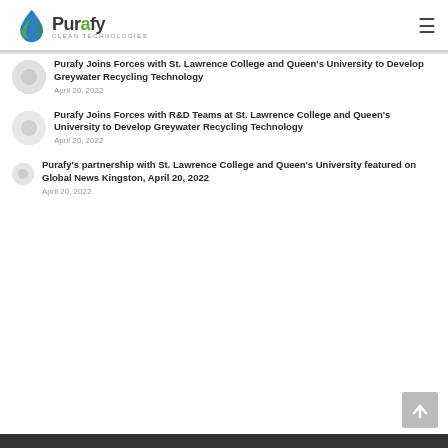Purafy Clean Technologies
Purafy Joins Forces with St. Lawrence College and Queen's University to Develop Greywater Recycling Technology
April 20, 2022
Purafy Joins Forces with R&D Teams at St. Lawrence College and Queen's University to Develop Greywater Recycling Technology
April 20, 2022
Purafy's partnership with St. Lawrence College and Queen's University featured on Global News Kingston, April 20, 2022
April 20, 2022